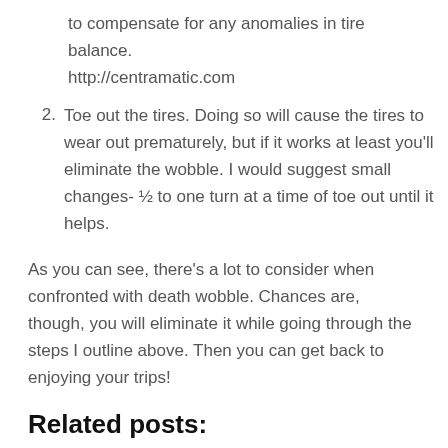to compensate for any anomalies in tire balance. http://centramatic.com
2. Toe out the tires. Doing so will cause the tires to wear out prematurely, but if it works at least you'll eliminate the wobble. I would suggest small changes- ½ to one turn at a time of toe out until it helps.
As you can see, there's a lot to consider when confronted with death wobble. Chances are, though, you will eliminate it while going through the steps I outline above. Then you can get back to enjoying your trips!
Related posts:
[Figure (photo): Close-up of a metallic knob/fitting on a blue background]
[Figure (photo): Tire and suspension components of a vehicle]